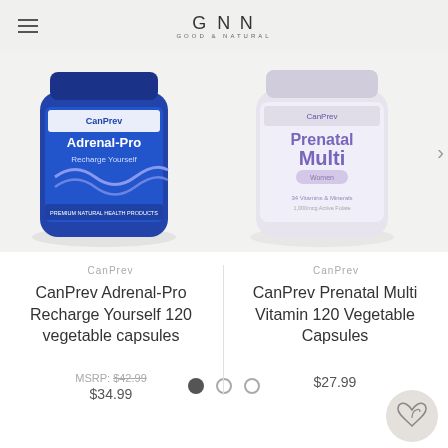GNN GOOD & NATURAL
[Figure (photo): CanPrev Adrenal-Pro Recharge Yourself product bottle, blue label, 120 vegetable capsules]
[Figure (photo): CanPrev Prenatal Multi Vitamin product bottle, white/lavender label, 120 Vegetable Capsules]
CanPrev
CanPrev Adrenal-Pro Recharge Yourself 120 vegetable capsules
MSRP: $42.99
$34.99
CanPrev
CanPrev Prenatal Multi Vitamin 120 Vegetable Capsules
$27.99